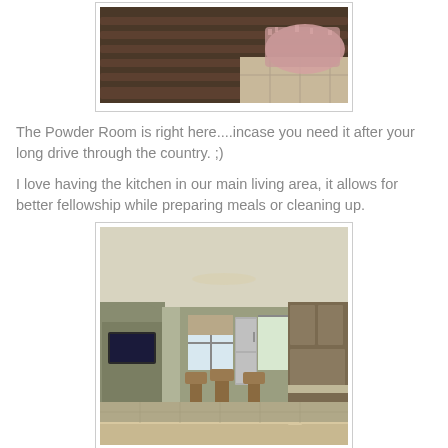[Figure (photo): Photo of a powder room area with wooden furniture and tile floor with pink rug visible]
The Powder Room is right here....incase you need it after your long drive through the country. ;)
I love having the kitchen in our main living area, it allows for better fellowship while preparing meals or cleaning up.
[Figure (photo): Interior photo of an open kitchen and living area with bar stools, wooden cabinetry, arched doorway, and tiled floors]